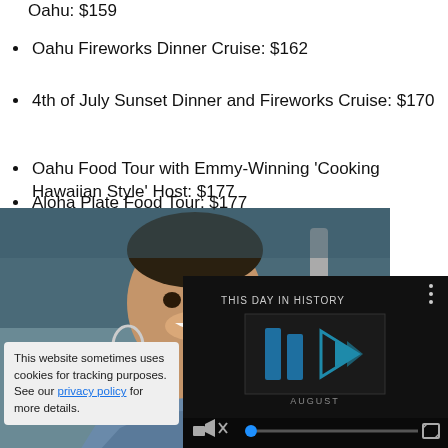Private Hawaiian Food Tour by Bike in Oahu: $159
Oahu Fireworks Dinner Cruise: $162
4th of July Sunset Dinner and Fireworks Cruise: $170
Oahu Food Tour with Emmy-Winning 'Cooking Hawaiian Style' Host: $177
Aloha Plate Food Tour: $177
[Figure (photo): Man smiling holding kitchen utensils, wearing a floral shirt, in a kitchen setting]
[Figure (screenshot): Video player showing 'This Day in History' with play button and AUGUST label, muted with progress bar]
This website sometimes uses cookies for tracking purposes. See our privacy policy for more details.